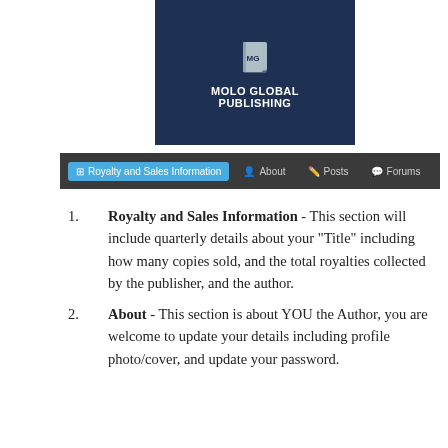[Figure (logo): Molo Global Publishing logo: dark navy blue rectangle with a stylized book icon labeled MG and text MOLO GLOBAL PUBLISHING in white]
[Figure (screenshot): Navigation bar with tabs: Royalty and Sales Information (active, blue), About, Posts, Forums]
Royalty and Sales Information - This section will include quarterly details about your "Title" including how many copies sold, and the total royalties collected by the publisher, and the author.
About - This section is about YOU the Author, you are welcome to update your details including profile photo/cover, and update your password.